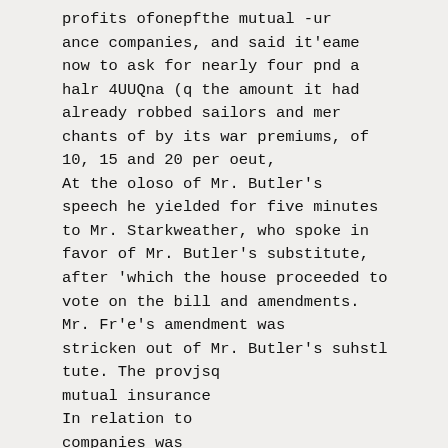profits ofonepfthe mutual -urance companies, and said it'eame now to ask for nearly four pnd a halr 4UUQna (q the amount it had already robbed sailors and merchants of by its war premiums, of 10, 15 and 20 per oeut,
At the oloso of Mr. Butler's speech he yielded for five minutes to Mr. Starkweather, who spoke in favor of Mr. Butler's substitute, after 'which the house proceeded to vote on the bill and amendments.
Mr. Fr'e's amendment was stricken out of Mr. Butler's suhstltute. The provjsq
mutual insurance
In relation to
companies was